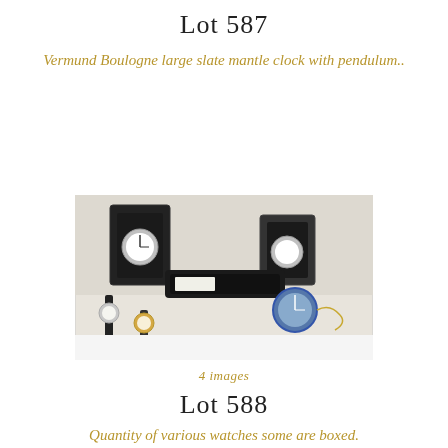Lot 587
Vermund Boulogne large slate mantle clock with pendulum..
[Figure (photo): A collection of various watches and timepieces, some in presentation boxes, including wristwatches in black boxes, a pocket watch, and a stopwatch, arranged on a light surface.]
4 images
Lot 588
Quantity of various watches some are boxed.